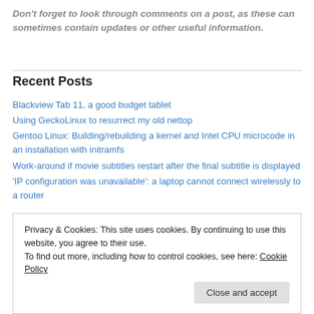Don't forget to look through comments on a post, as these can sometimes contain updates or other useful information.
Recent Posts
Blackview Tab 11, a good budget tablet
Using GeckoLinux to resurrect my old nettop
Gentoo Linux: Building/rebuilding a kernel and Intel CPU microcode in an installation with initramfs
Work-around if movie subtitles restart after the final subtitle is displayed
'IP configuration was unavailable': a laptop cannot connect wirelessly to a router
Privacy & Cookies: This site uses cookies. By continuing to use this website, you agree to their use. To find out more, including how to control cookies, see here: Cookie Policy